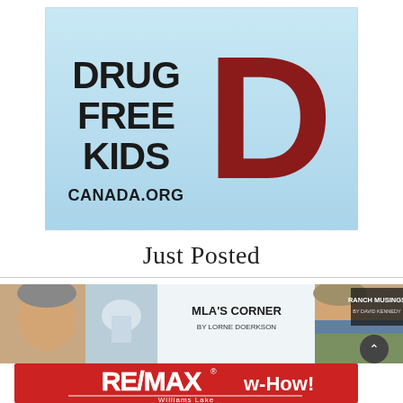[Figure (logo): Drug Free Kids Canada.org logo — light blue background with bold dark text 'DRUG FREE KIDS CANADA.ORG' and a large dark red letter D on the right]
Just Posted
[Figure (photo): Two thumbnail images side by side: left is 'MLA's Corner by Lorne Doerkson' showing a man's face and a capitol dome; right is 'Ranch Musings by David Kennedy' showing a man's face and a ranch landscape]
[Figure (logo): RE/MAX w-How! Williams Lake advertisement banner — red background with white RE/MAX logo text and 'w-How! Williams Lake']